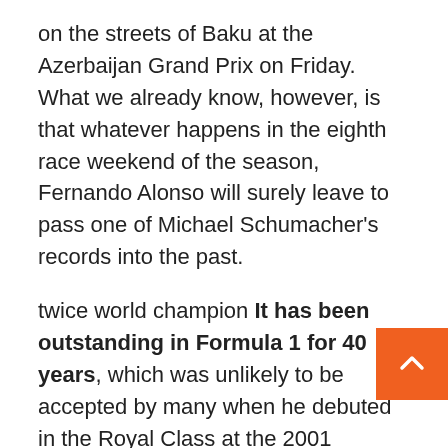on the streets of Baku at the Azerbaijan Grand Prix on Friday. What we already know, however, is that whatever happens in the eighth race weekend of the season, Fernando Alonso will surely leave to pass one of Michael Schumacher's records into the past.
twice world champion It has been outstanding in Formula 1 for 40 years, which was unlikely to be accepted by many when he debuted in the Royal Class at the 2001 Australian Grand Prix at the age of 19. In addition to the fact that he will be a member of the field after more than 20 years.
The The Baku Grand Prix will be exactly 21 years, 3 months and 8 days after Alonso made his Melbourne debut, so if the Spaniard starts this weekend, he will officially become the owner of the longest career in Formula 1, surpassing Michael Schumacher's record in